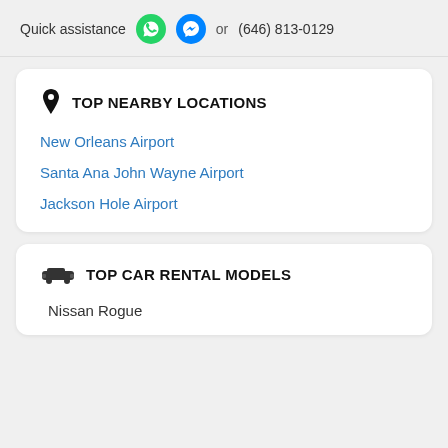Quick assistance or (646) 813-0129
TOP NEARBY LOCATIONS
New Orleans Airport
Santa Ana John Wayne Airport
Jackson Hole Airport
TOP CAR RENTAL MODELS
Nissan Rogue